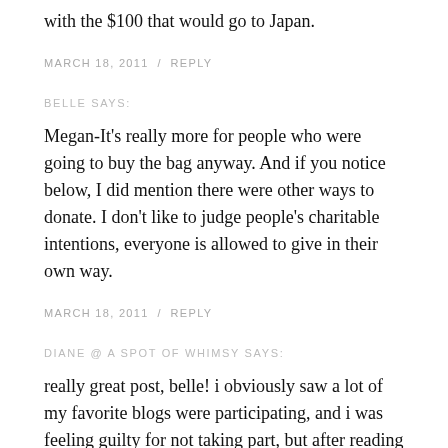with the $100 that would go to Japan.
MARCH 18, 2011  /  REPLY
BELLE SAYS:
Megan-It's really more for people who were going to buy the bag anyway. And if you notice below, I did mention there were other ways to donate. I don't like to judge people's charitable intentions, everyone is allowed to give in their own way.
MARCH 18, 2011  /  REPLY
DIANE @ A SPOT OF WHIMSY SAYS:
really great post, belle! i obviously saw a lot of my favorite blogs were participating, and i was feeling guilty for not taking part, but after reading your post i feel much better. i agree that